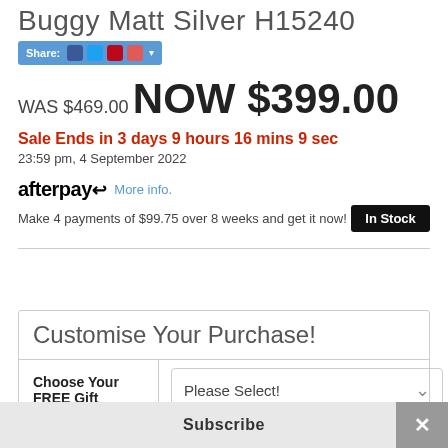Buggy Matt Silver H15240
[Figure (other): Share bar with social media icons: Facebook, Twitter, Pinterest, Email and dropdown arrow]
WAS $469.00
NOW $399.00
Sale Ends in 3 days 9 hours 16 mins 9 sec
23:59 pm, 4 September 2022
[Figure (logo): Afterpay logo with arrow icon and More info. link]
Make 4 payments of $99.75 over 8 weeks and get it now!
In Stock
Customise Your Purchase!
Choose Your FREE Gift
Please Select!
Subscribe